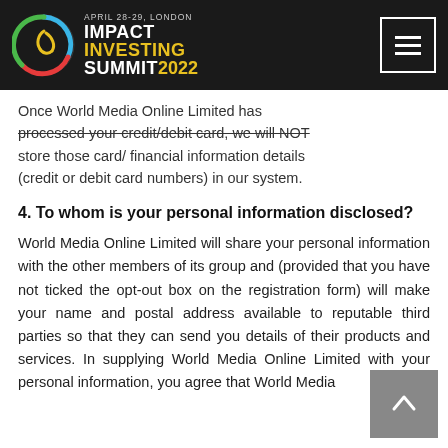[Figure (logo): Impact Investing Summit 2022 logo with circular icon and header bar. April 28-29, London.]
Once World Media Online Limited has processed your credit/debit card, we will NOT store those card/ financial information details (credit or debit card numbers) in our system.
4. To whom is your personal information disclosed?
World Media Online Limited will share your personal information with the other members of its group and (provided that you have not ticked the opt-out box on the registration form) will make your name and postal address available to reputable third parties so that they can send you details of their products and services. In supplying World Media Online Limited with your personal information, you agree that World Media